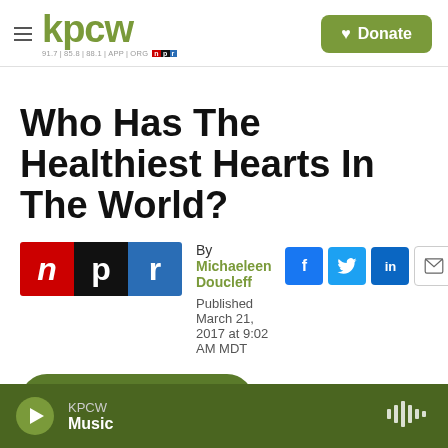kpcw | Donate
Who Has The Healthiest Hearts In The World?
By Michaeleen Doucleff
Published March 21, 2017 at 9:02 AM MDT
LISTEN • 4:00
KPCW Music